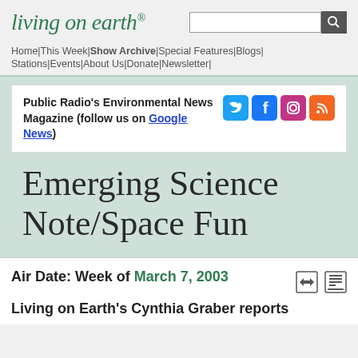living on earth®
Home | This Week | Show Archive | Special Features | Blogs | Stations | Events | About Us | Donate | Newsletter |
Public Radio's Environmental News Magazine (follow us on Google News)
Emerging Science Note/Space Fun
Air Date: Week of March 7, 2003
Living on Earth's Cynthia Graber reports